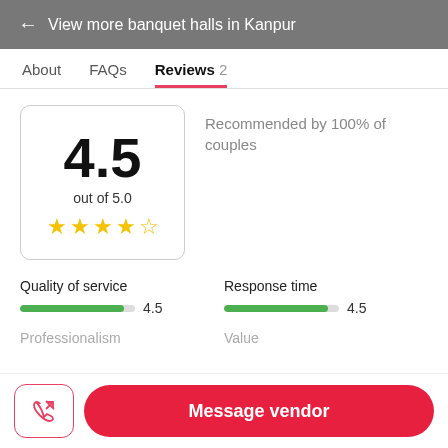← View more banquet halls in Kanpur
About   FAQs   Reviews 2
4.5
out of 5.0
★★★★½
Recommended by 100% of couples
Quality of service   4.5
Response time   4.5
Message vendor